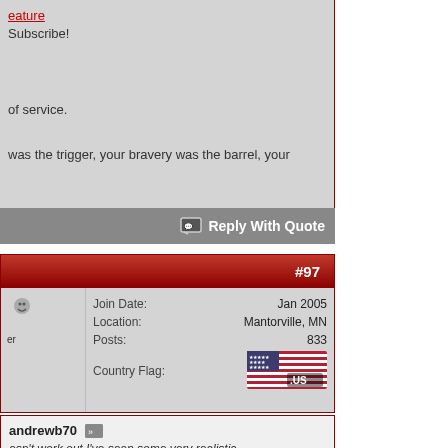eature Subscribe!
of service.
was the trigger, your bravery was the barrel, your
Reply With Quote
#97
er
| Field | Value |
| --- | --- |
| Join Date: | Jan 2005 |
| Location: | Mantorville, MN |
| Posts: | 833 |
| Country Flag: | [US Flag] |
andrewb70 esn't work out I've seen some very realistic